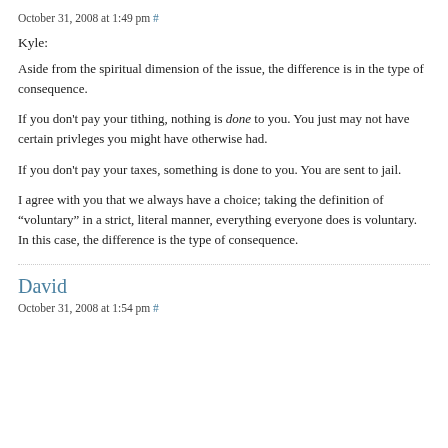October 31, 2008 at 1:49 pm #
Kyle:
Aside from the spiritual dimension of the issue, the difference is in the type of consequence.
If you don't pay your tithing, nothing is done to you. You just may not have certain privleges you might have otherwise had.
If you don't pay your taxes, something is done to you. You are sent to jail.
I agree with you that we always have a choice; taking the definition of “voluntary” in a strict, literal manner, everything everyone does is voluntary. In this case, the difference is the type of consequence.
David
October 31, 2008 at 1:54 pm #